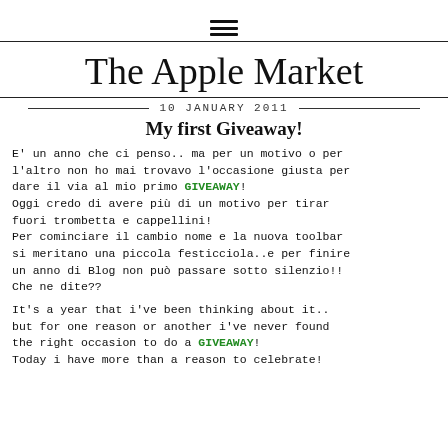☰ (hamburger menu icon)
The Apple Market
10 JANUARY 2011
My first Giveaway!
E' un anno che ci penso.. ma per un motivo o per l'altro non ho mai trovavo l'occasione giusta per dare il via al mio primo GIVEAWAY!
Oggi credo di avere più di un motivo per tirar fuori trombetta e cappellini!
Per cominciare il cambio nome e la nuova toolbar si meritano una piccola festicciola..e per finire un anno di Blog non può passare sotto silenzio!!
Che ne dite??
It's a year that i've been thinking about it.. but for one reason or another i've never found the right occasion to do a GIVEAWAY!
Today i have more than a reason to celebrate!